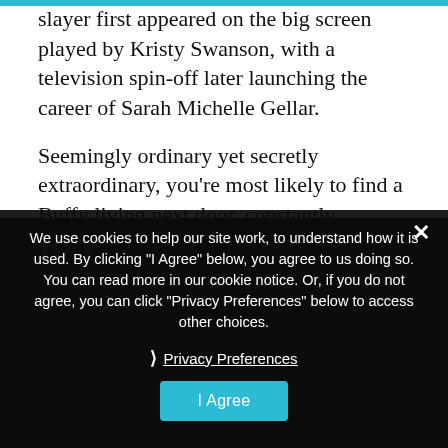slayer first appeared on the big screen played by Kristy Swanson, with a television spin-off later launching the career of Sarah Michelle Gellar.
Seemingly ordinary yet secretly extraordinary, you're most likely to find a Buffy living next door, constantly surprisingly you and proving you should never judge on first impressions.
[Figure (screenshot): Cookie consent overlay dialog on a dark background webpage section. The dialog contains text about cookie usage, a Privacy Preferences link, an I Agree button, and a close (×) button. A partially visible section header 'Rey...' and a dark image area appear behind the overlay.]